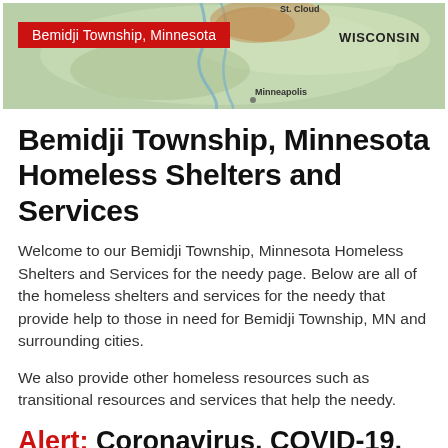[Figure (map): Map of Minnesota showing St. Cloud, Minneapolis, and surrounding region with a red label overlay reading 'Bemidji Township, Minnesota' and 'WISCONSIN' text to the right]
Bemidji Township, Minnesota Homeless Shelters and Services
Welcome to our Bemidji Township, Minnesota Homeless Shelters and Services for the needy page. Below are all of the homeless shelters and services for the needy that provide help to those in need for Bemidji Township, MN and surrounding cities.
We also provide other homeless resources such as transitional resources and services that help the needy.
Alert: Coronavirus, COVID-19, Rental Assistance Programs
Looking for government and non-profit programs to